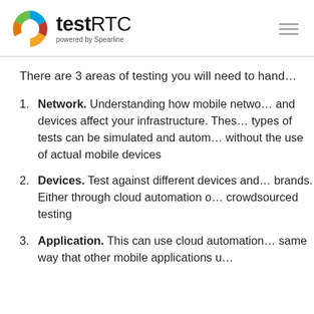[Figure (logo): testRTC powered by Spearline logo with colorful circular icon]
There are 3 areas of testing you will need to hand...
Network. Understanding how mobile netwo... and devices affect your infrastructure. Thes... types of tests can be simulated and autom... without the use of actual mobile devices
Devices. Test against different devices and... brands. Either through cloud automation o... crowdsourced testing
Application. This can use cloud automation... same way that other mobile applications u...